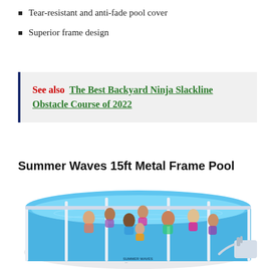Tear-resistant and anti-fade pool cover
Superior frame design
See also  The Best Backyard Ninja Slackline Obstacle Course of 2022
Summer Waves 15ft Metal Frame Pool
[Figure (photo): A large round blue Summer Waves 15ft Metal Frame Pool filled with water and multiple people, including children and adults, enjoying the pool. The pool has a white metal frame structure, blue walls, and a filter pump attached to the side.]